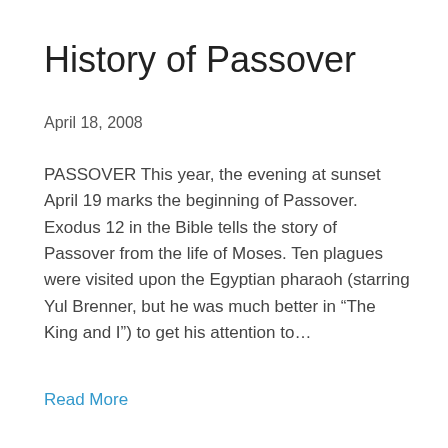History of Passover
April 18, 2008
PASSOVER This year, the evening at sunset April 19 marks the beginning of Passover. Exodus 12 in the Bible tells the story of Passover from the life of Moses. Ten plagues were visited upon the Egyptian pharaoh (starring Yul Brenner, but he was much better in “The King and I”) to get his attention to…
Read More